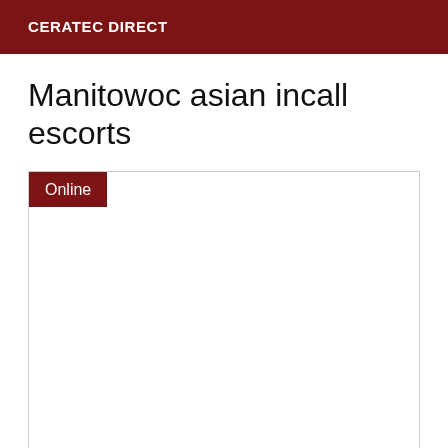CERATEC DIRECT
Manitowoc asian incall escorts
Online